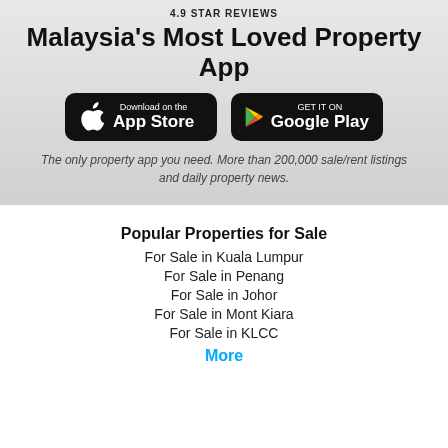4.9 STAR REVIEWS
Malaysia's Most Loved Property App
[Figure (logo): App Store download button (black rounded rectangle with Apple logo and 'Download on the App Store' text)]
[Figure (logo): Google Play download button (black rounded rectangle with Google Play triangle logo and 'GET IT ON Google Play' text)]
The only property app you need. More than 200,000 sale/rent listings and daily property news.
Popular Properties for Sale
For Sale in Kuala Lumpur
For Sale in Penang
For Sale in Johor
For Sale in Mont Kiara
For Sale in KLCC
More